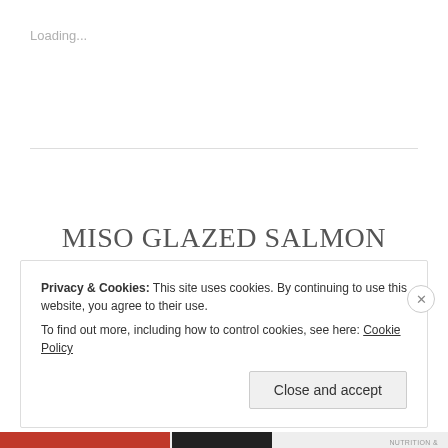Loading...
MISO GLAZED SALMON WITH ROASTED CAULIFLOWER AND PEARLED COUSCOUS
Privacy & Cookies: This site uses cookies. By continuing to use this website, you agree to their use.
To find out more, including how to control cookies, see here: Cookie Policy
Close and accept